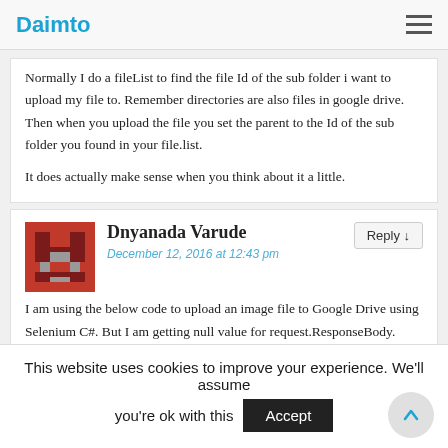Daimto
Normally I do a fileList to find the file Id of the sub folder i want to upload my file to. Remember directories are also files in google drive. Then when you upload the file you set the parent to the Id of the sub folder you found in your file.list.

It does actually make sense when you think about it a little.
Dnyanada Varude
December 12, 2016 at 12:43 pm
I am using the below code to upload an image file to Google Drive using Selenium C#. But I am getting null value for request.ResponseBody.
This website uses cookies to improve your experience. We'll assume you're ok with this